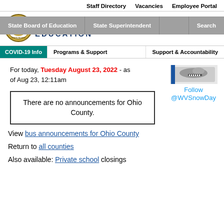Staff Directory   Vacancies   Employee Portal
[Figure (logo): West Virginia State Board of Education seal/logo circle and EDUCATION header text with gray navigation overlay showing State Board of Education, State Superintendent, Search]
COVID-19 Info   Programs & Support   Support & Accountability
[Figure (photo): Twitter bird icon/avatar image for WVSnowDay account]
Follow @WVSnowDay
For today, Tuesday August 23, 2022 - as of Aug 23, 12:11am
There are no announcements for Ohio County.
View bus announcements for Ohio County
Return to all counties
Also available: Private school closings